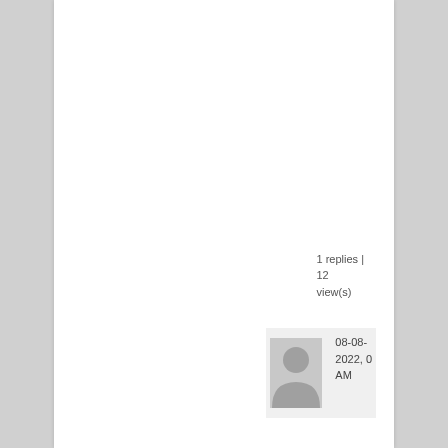1 replies | 12 view(s)
[Figure (other): User avatar icon with date stamp showing 08-08-2022, AM]